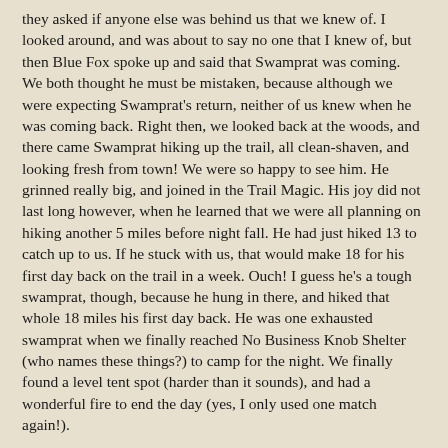they asked if anyone else was behind us that we knew of. I looked around, and was about to say no one that I knew of, but then Blue Fox spoke up and said that Swamprat was coming. We both thought he must be mistaken, because although we were expecting Swamprat's return, neither of us knew when he was coming back. Right then, we looked back at the woods, and there came Swamprat hiking up the trail, all clean-shaven, and looking fresh from town! We were so happy to see him. He grinned really big, and joined in the Trail Magic. His joy did not last long however, when he learned that we were all planning on hiking another 5 miles before night fall. He had just hiked 13 to catch up to us. If he stuck with us, that would make 18 for his first day back on the trail in a week. Ouch! I guess he's a tough swamprat, though, because he hung in there, and hiked that whole 18 miles his first day back. He was one exhausted swamprat when we finally reached No Business Knob Shelter (who names these things?) to camp for the night. We finally found a level tent spot (harder than it sounds), and had a wonderful fire to end the day (yes, I only used one match again!).